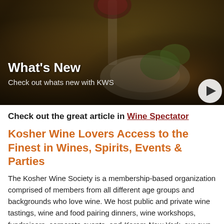[Figure (photo): Hero banner photo showing a wine glass with red wine at a restaurant dining table with food, overlaid with 'What's New' title text and subtitle 'Check out whats new with KWS', with a right-arrow navigation button in the bottom-right corner.]
Check out the great article in Wine Spectator
Kosher Wine Lovers Access to the Finest in Wines, Spirits, Events & Parties
The Kosher Wine Society is a membership-based organization comprised of members from all different age groups and backgrounds who love wine. We host public and private wine tastings, wine and food pairing dinners, wine workshops, fundraisers, corporate events, and Kerem New York, our own monthly business networking event.